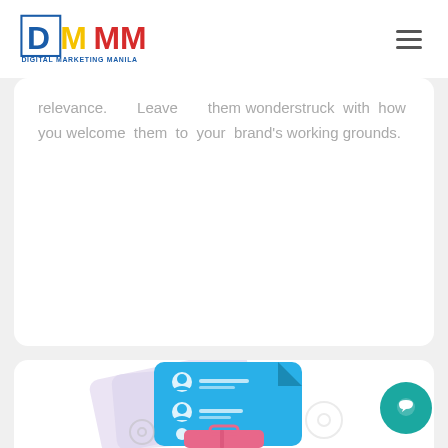[Figure (logo): Digital Marketing Manila (DMM) logo with blue D, yellow M, red MM letters and blue text 'DIGITAL MARKETING MANILA' below]
relevance. Leave them wonderstruck with how you welcome them to your brand's working grounds.
[Figure (illustration): Illustration of a document/resume with person icons and lines, pink briefcase, and light purple background cards. Partial view at bottom of page.]